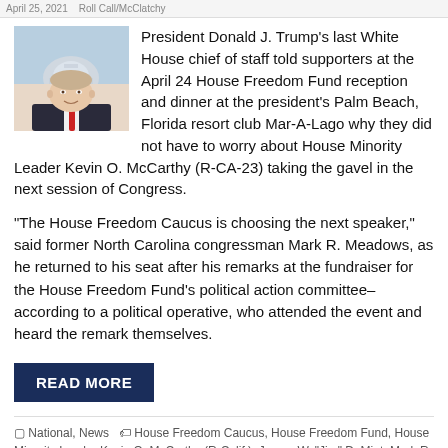April 25, 2021  |  Roll Call/McClatchy
[Figure (photo): Headshot photo of Mark Meadows with US Capitol building in background]
President Donald J. Trump's last White House chief of staff told supporters at the April 24 House Freedom Fund reception and dinner at the president's Palm Beach, Florida resort club Mar-A-Lago why they did not have to worry about House Minority Leader Kevin O. McCarthy (R-CA-23) taking the gavel in the next session of Congress.
“The House Freedom Caucus is choosing the next speaker,” said former North Carolina congressman Mark R. Meadows, as he returned to his seat after his remarks at the fundraiser for the House Freedom Fund’s political action committee–according to a political operative, who attended the event and heard the remark themselves.
READ MORE
National, News  |  House Freedom Caucus, House Freedom Fund, House Minority Leader Kevin O. McCarthy (R-Calif.), James W. “Jim” DeMint, Mark R.